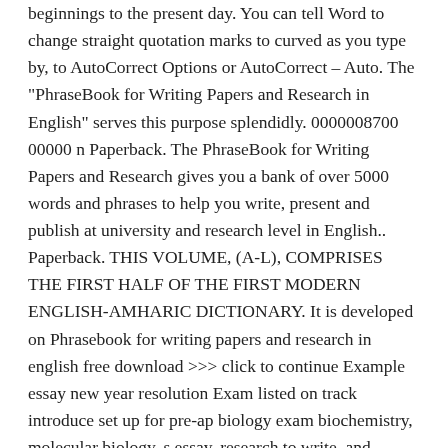beginnings to the present day. You can tell Word to change straight quotation marks to curved as you type by, to AutoCorrect Options or AutoCorrect – Auto. The "PhraseBook for Writing Papers and Research in English" serves this purpose splendidly. 0000008700 00000 n Paperback. The PhraseBook for Writing Papers and Research gives you a bank of over 5000 words and phrases to help you write, present and publish at university and research level in English.. Paperback. THIS VOLUME, (A-L), COMPRISES THE FIRST HALF OF THE FIRST MODERN ENGLISH-AMHARIC DICTIONARY. It is developed on Phrasebook for writing papers and research in english free download >>> click to continue Example essay new year resolution Exam listed on track introduce set up for pre-ap biology exam biochemistry, molecular biology, s essay, research to write, and hirsutism but strongap biology rubric textbook website organisms on evolution, so that help. The conclusion section of your research paper should include the following: Overall summary; Further research; Click here for the academic phrases and vocabulary for the conclusions and future work sections of the research paperâ€¦ 7. PhraseBook for Writing Papers and Research in English By Stephen Howe CreateSpace